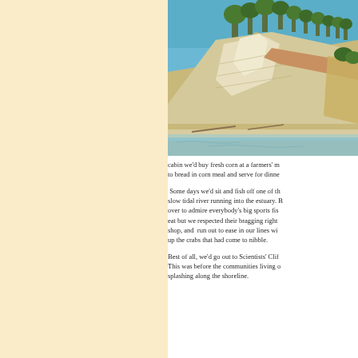[Figure (photo): Photograph of a sandy eroded cliff face along a shoreline with trees at the top and calm water at the base, under a clear blue sky.]
cabin we'd buy fresh corn at a farmers' m to bread in corn meal and serve for dinne
Some days we'd sit and fish off one of th slow tidal river running into the estuary. B over to admire everybody's big sports fis eat but we respected their bragging right shop, and run out to ease in our lines wi up the crabs that had come to nibble.
Best of all, we'd go out to Scientists' Clif This was before the communities living o splashing along the shoreline.